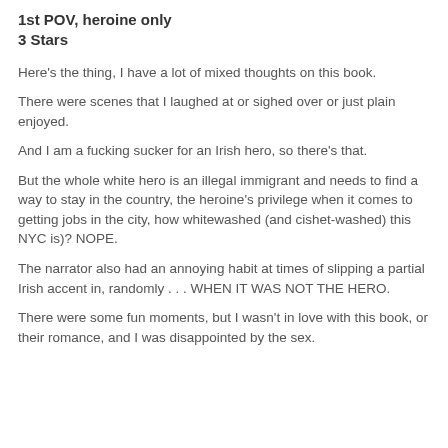1st POV, heroine only
3 Stars
Here's the thing, I have a lot of mixed thoughts on this book.
There were scenes that I laughed at or sighed over or just plain enjoyed.
And I am a fucking sucker for an Irish hero, so there's that.
But the whole white hero is an illegal immigrant and needs to find a way to stay in the country, the heroine's privilege when it comes to getting jobs in the city, how whitewashed (and cishet-washed) this NYC is)? NOPE.
The narrator also had an annoying habit at times of slipping a partial Irish accent in, randomly . . . WHEN IT WAS NOT THE HERO.
There were some fun moments, but I wasn't in love with this book, or their romance, and I was disappointed by the sex.